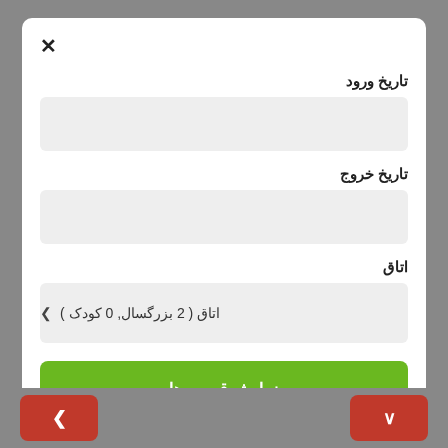×
تاریخ ورود
تاریخ خروج
اتاق
اتاق ( 2 بزرگسال, 0 کودک )
نمایش قیمت ها